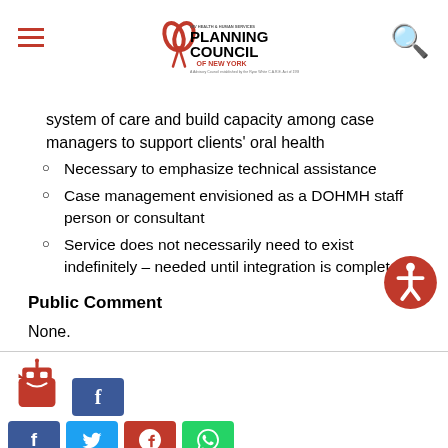HIV Health & Human Services Planning Council of New York
system of care and build capacity among case managers to support clients' oral health
Necessary to emphasize technical assistance
Case management envisioned as a DOHMH staff person or consultant
Service does not necessarily need to exist indefinitely – needed until integration is complete.
Public Comment
None.
Social sharing buttons: Facebook, Twitter, Pinterest, WhatsApp